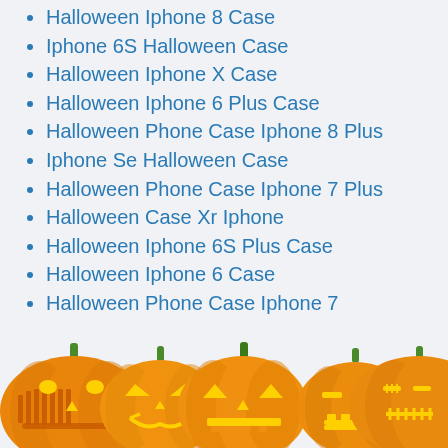Halloween Iphone 8 Case
Iphone 6S Halloween Case
Halloween Iphone X Case
Halloween Iphone 6 Plus Case
Halloween Phone Case Iphone 8 Plus
Iphone Se Halloween Case
Halloween Phone Case Iphone 7 Plus
Halloween Case Xr Iphone
Halloween Iphone 6S Plus Case
Halloween Iphone 6 Case
Halloween Phone Case Iphone 7
[Figure (illustration): Row of five carved Halloween jack-o-lantern pumpkins with orange color and glowing faces, at the bottom of the page]